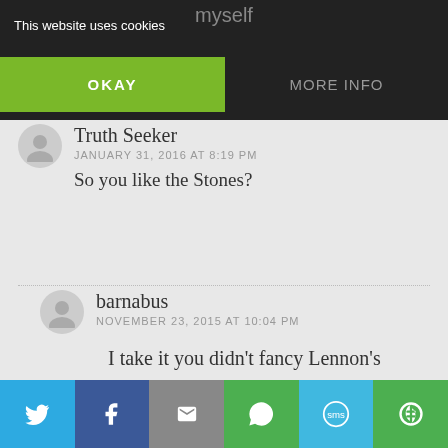myself
This website uses cookies
OKAY
MORE INFO
Truth Seeker
JANUARY 31, 2016 AT 8:19 PM
So you like the Stones?
barnabus
NOVEMBER 23, 2015 AT 10:04 PM
I take it you didn’t fancy Lennon’s communist manifesto “Imagine” being played on the piano at the Paris attacks?